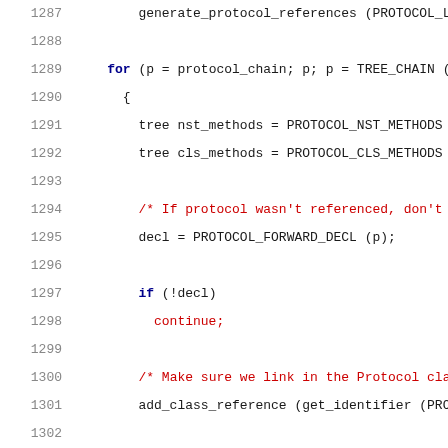Source code listing, lines 1287-1307, showing C code for protocol method processing with for/while loops and conditionals.